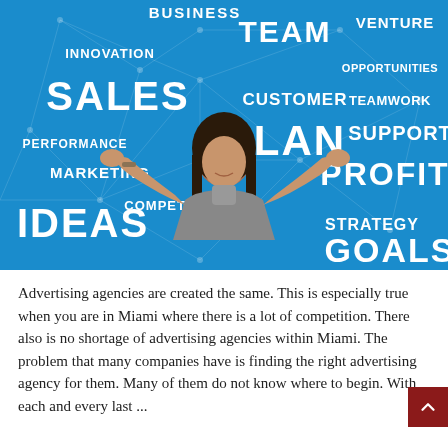[Figure (illustration): A woman in a grey turtleneck with hands raised, standing in front of a blue background with business-related words: BUSINESS, TEAM, VENTURE, INNOVATION, SALES, CUSTOMER, OPPORTUNITIES, PERFORMANCE, PLAN, TEAMWORK, SUPPORT, MARKETING, PROFIT, COMPETITION, IDEAS, STRATEGY, GOALS]
Advertising agencies are created the same. This is especially true when you are in Miami where there is a lot of competition. There also is no shortage of advertising agencies within Miami. The problem that many companies have is finding the right advertising agency for them. Many of them do not know where to begin. With each and every last ...